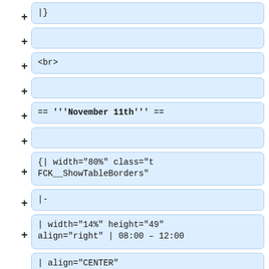|}
<br>
== '''November 11th''' ==
{| width="80%" class="t FCK__ShowTableBorders"
|-
| width="14%" height="49" align="right" | 08:00 – 12:00
| align="CENTER" bgcolor="#8595c2" | '''Wenjun Wang''' <br> OWASP Top 10 and